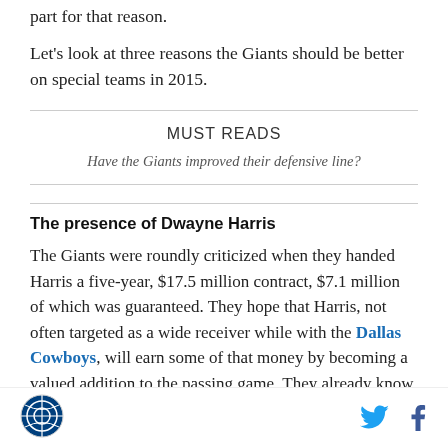part for that reason.
Let's look at three reasons the Giants should be better on special teams in 2015.
MUST READS
Have the Giants improved their defensive line?
The presence of Dwayne Harris
The Giants were roundly criticized when they handed Harris a five-year, $17.5 million contract, $7.1 million of which was guaranteed. They hope that Harris, not often targeted as a wide receiver while with the Dallas Cowboys, will earn some of that money by becoming a valued addition to the passing game. They already know, however, that Harris will earn his keep as one of